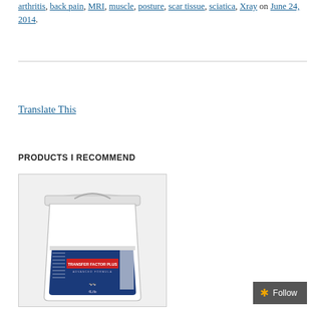arthritis, back pain, MRI, muscle, posture, scar tissue, sciatica, Xray on June 24, 2014.
Translate This
PRODUCTS I RECOMMEND
[Figure (photo): Large white plastic bucket with a blue label reading 'Transfer Factor Plus' by 4Life brand.]